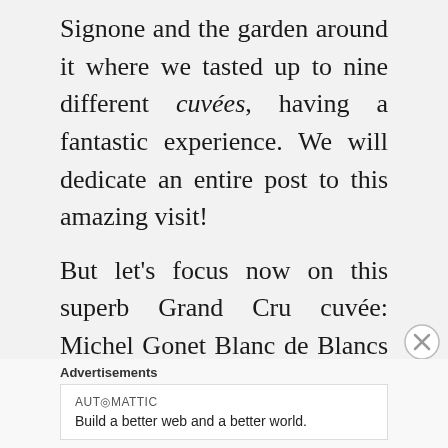Signone and the garden around it where we tasted up to nine different cuvées, having a fantastic experience. We will dedicate an entire post to this amazing visit!

But let's focus now on this superb Grand Cru cuvée: Michel Gonet Blanc de Blancs millésime 2005 “Élevé en fût de Chêne” (matured in oak barrel), the result of an experiment made by Sophie Gonet in 2004
Advertisements
AUTOMATTIC
Build a better web and a better world.